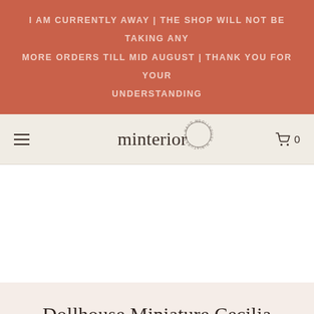I AM CURRENTLY AWAY | THE SHOP WILL NOT BE TAKING ANY MORE ORDERS TILL MID AUGUST | THANK YOU FOR YOUR UNDERSTANDING
[Figure (logo): Minterior brand logo with circular badge text]
Dollhouse Miniature Cecilia Bed